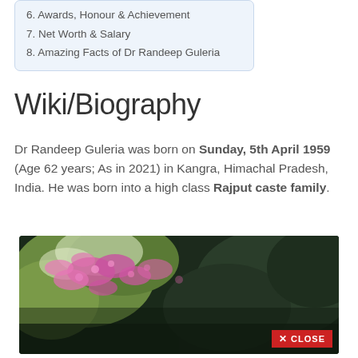6. Awards, Honour & Achievement
7. Net Worth & Salary
8. Amazing Facts of Dr Randeep Guleria
Wiki/Biography
Dr Randeep Guleria was born on Sunday, 5th April 1959 (Age 62 years; As in 2021) in Kangra, Himachal Pradesh, India. He was born into a high class Rajput caste family.
[Figure (photo): Outdoor photo showing flowering trees with pink blossoms against dark green foliage, with a red CLOSE button overlay in the bottom right corner.]